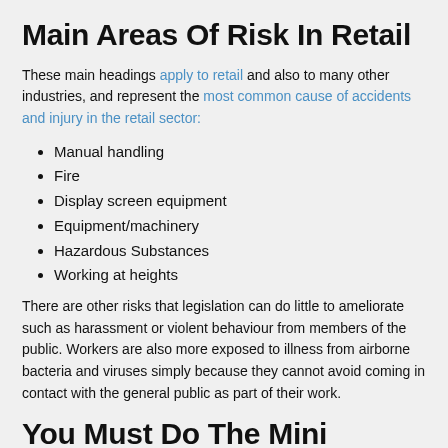Main Areas Of Risk In Retail
These main headings apply to retail and also to many other industries, and represent the most common cause of accidents and injury in the retail sector:
Manual handling
Fire
Display screen equipment
Equipment/machinery
Hazardous Substances
Working at heights
There are other risks that legislation can do little to ameliorate such as harassment or violent behaviour from members of the public. Workers are also more exposed to illness from airborne bacteria and viruses simply because they cannot avoid coming in contact with the general public as part of their work.
You Must Do The Mini...